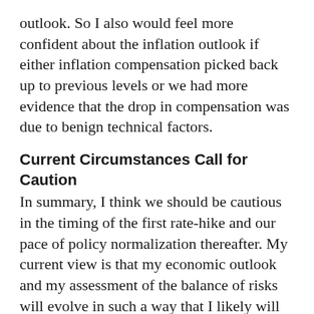outlook. So I also would feel more confident about the inflation outlook if either inflation compensation picked back up to previous levels or we had more evidence that the drop in compensation was due to benign technical factors.
Current Circumstances Call for Caution
In summary, I think we should be cautious in the timing of the first rate-hike and our pace of policy normalization thereafter. My current view is that my economic outlook and my assessment of the balance of risks will evolve in such a way that I likely will not feel confident enough to begin to raise rates until early next year. But there is no prescribed timeline that must be adhered to — and no pre-set script to follow — other than that we should let economic conditions and risks to the outlook be our guides. Given uncomfortably low inflation and uncertainties about the